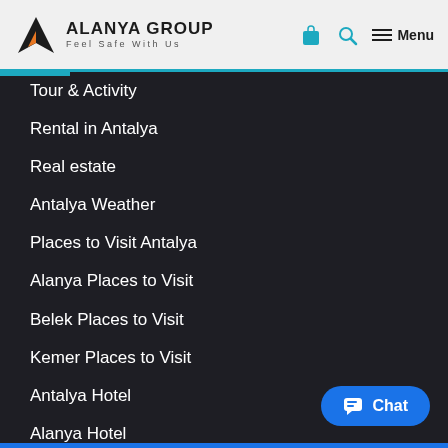ALANYA GROUP — Feel Safe With Us
Tour & Activity
Rental in Antalya
Real estate
Antalya Weather
Places to Visit Antalya
Alanya Places to Visit
Belek Places to Visit
Kemer Places to Visit
Antalya Hotel
Alanya Hotel
Belek Hotel
Kemer Hotel